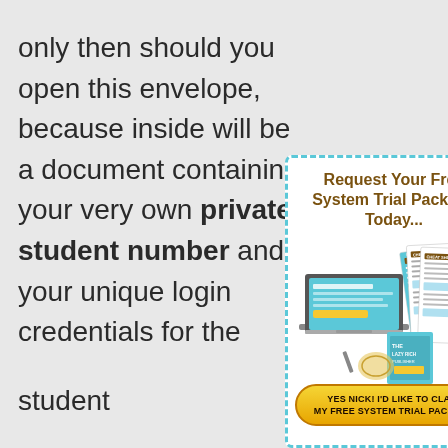only then should you open this envelope, because inside will be a document containing your very own private student number and your unique login credentials for the student...
About S... website... able to... your tr... the ado... ongoing... provide... you ab...
[Figure (infographic): Popup ad with dashed teal border showing 'Request Your Free System Trial Package Today...' with an image of a laptop, cheat sheets, and a book, and a yellow CTA button 'YES NICK! I'D LIKE TO CLAIM MY FREE SYSTEM TRIAL PACKAGE']